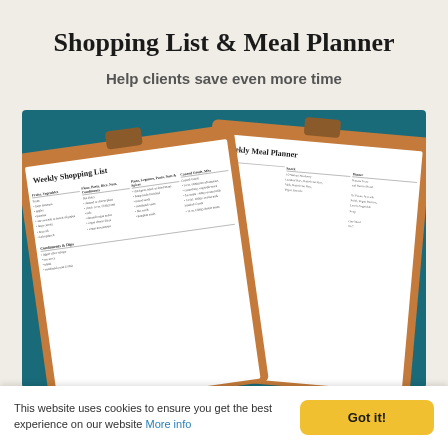Shopping List & Meal Planner
Help clients save even more time
[Figure (illustration): Two clipboards on a teal background: one showing a 'Weekly Shopping List' form and one showing a 'Weekly Meal Planner' form, with brown clipboard backs and white paper sheets with printed text columns]
This website uses cookies to ensure you get the best experience on our website More info   Got it!